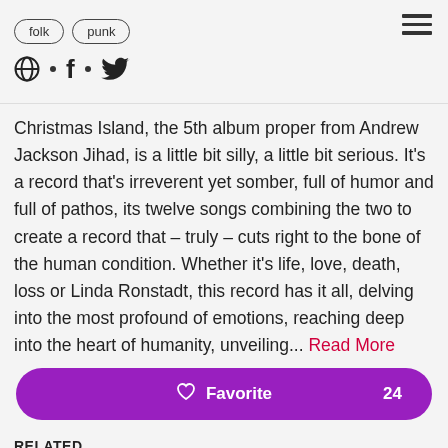folk
punk
Christmas Island, the 5th album proper from Andrew Jackson Jihad, is a little bit silly, a little bit serious. It's a record that's irreverent yet somber, full of humor and full of pathos, its twelve songs combining the two to create a record that – truly – cuts right to the bone of the human condition. Whether it's life, love, death, loss or Linda Ronstadt, this record has it all, delving into the most profound of emotions, reaching deep into the heart of humanity, unveiling... Read More
RELATED